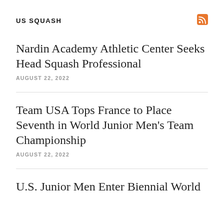US SQUASH
Nardin Academy Athletic Center Seeks Head Squash Professional
AUGUST 22, 2022
Team USA Tops France to Place Seventh in World Junior Men's Team Championship
AUGUST 22, 2022
U.S. Junior Men Enter Biennial World